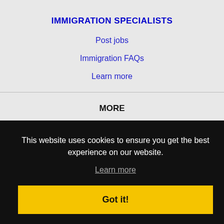IMMIGRATION SPECIALISTS
Post jobs
Immigration FAQs
Learn more
MORE
FAQ
Contact us
Sitemap
This website uses cookies to ensure you get the best experience on our website.
Learn more
Got it!
Bellevue, WA Jobs
Bellingham, WA Jobs